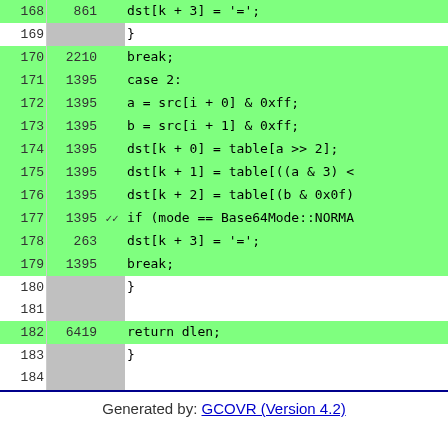| Line | Hits | Check | Code |
| --- | --- | --- | --- |
| 168 | 861 |  | dst[k + 3] = '='; |
| 169 |  |  | } |
| 170 | 2210 |  | break; |
| 171 | 1395 |  | case 2: |
| 172 | 1395 |  | a = src[i + 0] & 0xff; |
| 173 | 1395 |  | b = src[i + 1] & 0xff; |
| 174 | 1395 |  | dst[k + 0] = table[a >> 2]; |
| 175 | 1395 |  | dst[k + 1] = table[((a & 3) < |
| 176 | 1395 |  | dst[k + 2] = table[(b & 0x0f) |
| 177 | 1395 | ✓✓ | if (mode == Base64Mode::NORMA |
| 178 | 263 |  | dst[k + 3] = '='; |
| 179 | 1395 |  | break; |
| 180 |  |  | } |
| 181 |  |  |  |
| 182 | 6419 |  | return dlen; |
| 183 |  |  | } |
| 184 |  |  |  |
| 185 |  |  | } // namespace node |
| 186 |  |  |  |
| 187 |  |  | #endif  // defined(NODE_WANT_INTERN |
| 188 |  |  |  |
| 189 |  |  | #endif  // SRC_BASE64_INL_H_ |
Generated by: GCOVR (Version 4.2)